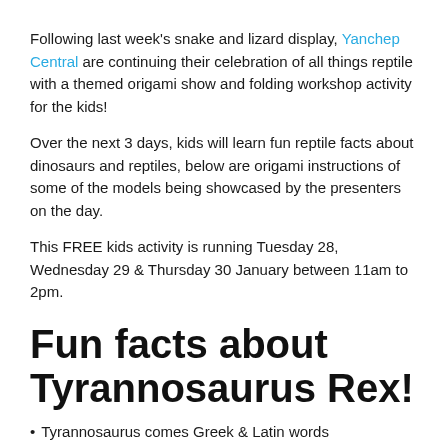Following last week's snake and lizard display, Yanchep Central are continuing their celebration of all things reptile with a themed origami show and folding workshop activity for the kids!
Over the next 3 days, kids will learn fun reptile facts about dinosaurs and reptiles, below are origami instructions of some of the models being showcased by the presenters on the day.
This FREE kids activity is running Tuesday 28, Wednesday 29 & Thursday 30 January between 11am to 2pm.
Fun facts about Tyrannosaurus Rex!
Tyrannosaurus comes Greek & Latin words